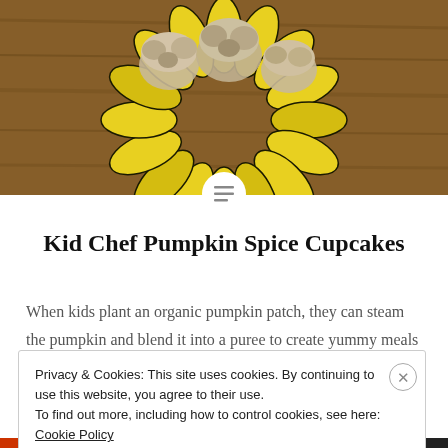[Figure (photo): Photo of pumpkin spice cupcakes on a sunflower-shaped decorative plate, on a wooden table background]
Kid Chef Pumpkin Spice Cupcakes
When kids plant an organic pumpkin patch, they can steam the pumpkin and blend it into a puree to create yummy meals and treats. Kids can make these cupcakes, filled with walnuts and raisins and topped with a maple glaze.
Pumpkins are incredibly healthy, packed with nutrients and
Privacy & Cookies: This site uses cookies. By continuing to use this website, you agree to their use.
To find out more, including how to control cookies, see here: Cookie Policy
Close and accept